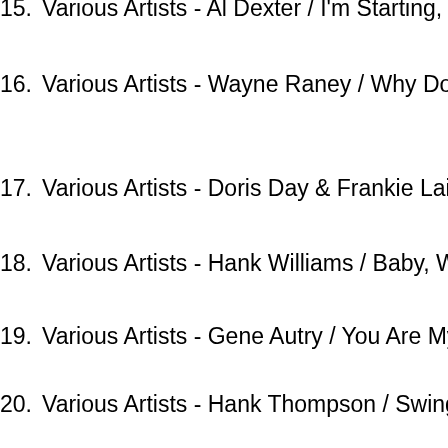15. Various Artists - Al Dexter / I'm Starting, Sweatheart, Again (02:3…
16. Various Artists - Wayne Raney / Why Don't You Haul Off And Love Me (03:03)
17. Various Artists - Doris Day & Frankie Laine / Sugarbush (02:02)
18. Various Artists - Hank Williams / Baby, We're Really In Love (02:3…
19. Various Artists - Gene Autry / You Are My Sunshine (02:27)
20. Various Artists - Hank Thompson / Swing Wide Your Gate Of Love (02:22)
21. Various Artists - Spade Cooley / A Par Of Broken Hearts (03:01)
22. Various Artists - Sweet Violet Boys / I Love My Fruit (02:33)
23. Various Artists - Tex Ritter / Have I Told You Lately That I Love Yo…